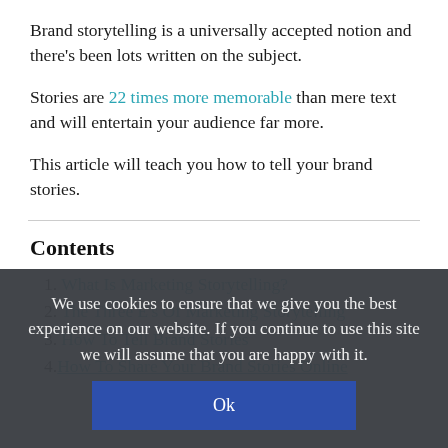Brand storytelling is a universally accepted notion and there's been lots written on the subject.
Stories are 22 times more memorable than mere text and will entertain your audience far more.
This article will teach you how to tell your brand stories.
Contents
1. What Is Marketing Storytelling?
2. The Three E's Of Marketing Storytelling
3. How To Tell Brand Stories
4. How To Share Your Brand Stories Online
We use cookies to ensure that we give you the best experience on our website. If you continue to use this site we will assume that you are happy with it.